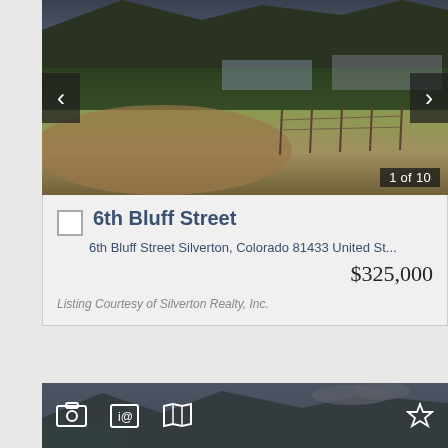[Figure (photo): Outdoor field/land photo with mountains and trees in background, small buildings visible in distance. Navigation arrows on left and right. Badge showing '1 of 10' in bottom right corner.]
6th Bluff Street
6th Bluff Street Silverton, Colorado 81433 United St...
$325,000
Listing Courtesy of Silverton Realty, Inc.
[Figure (photo): Partial view of second listing photo showing mountain landscape with clouds and sky, with toolbar icons (photo, info, map, star) overlaid.]